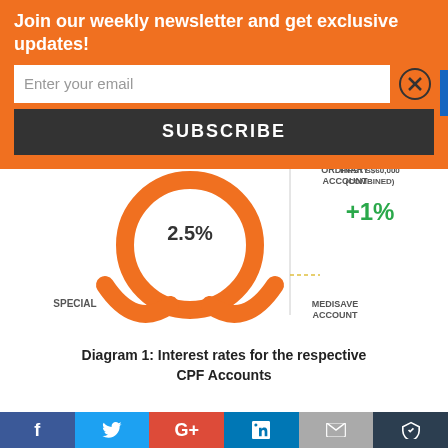Join our weekly newsletter and get exclusive updates!
[Figure (infographic): CPF account interest rates diagram showing: Ordinary Account 2.5%, Special Account (left arc), Medisave Account (right arc), and First S$60,000 (Combined) +1% bonus interest. Orange donut/arc chart style graphic.]
Diagram 1: Interest rates for the respective CPF Accounts
ii) The top-ups that I made to my child's MA can be
f  [Twitter]  G+  [LinkedIn]  [Email]  [Crown]